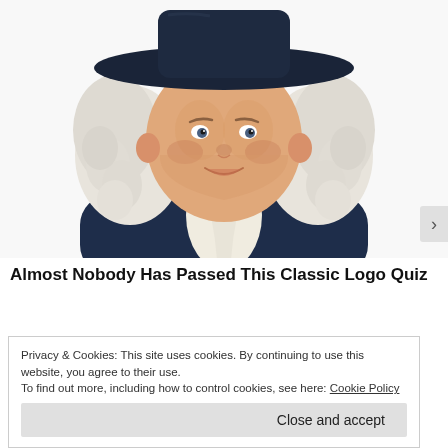[Figure (illustration): Illustrated portrait of the Quaker Oats man mascot — a smiling man in a colonial-era navy blue coat and wide-brimmed black hat with flowing white curly hair, wearing a white cravat.]
Almost Nobody Has Passed This Classic Logo Quiz
Privacy & Cookies: This site uses cookies. By continuing to use this website, you agree to their use.
To find out more, including how to control cookies, see here: Cookie Policy
Close and accept